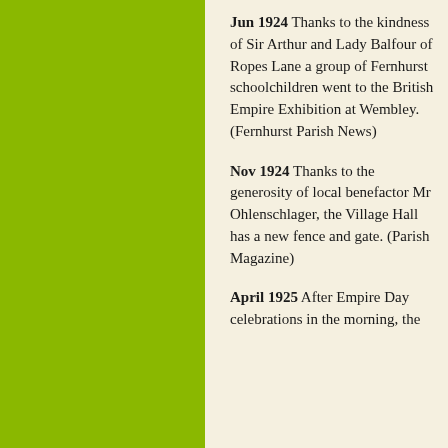[Figure (other): Solid olive/yellow-green rectangular panel on the left side of the page]
Jun 1924 Thanks to the kindness of Sir Arthur and Lady Balfour of Ropes Lane a group of Fernhurst schoolchildren went to the British Empire Exhibition at Wembley. (Fernhurst Parish News)
Nov 1924 Thanks to the generosity of local benefactor Mr Ohlenschlager, the Village Hall has a new fence and gate. (Parish Magazine)
April 1925 After Empire Day celebrations in the morning, the